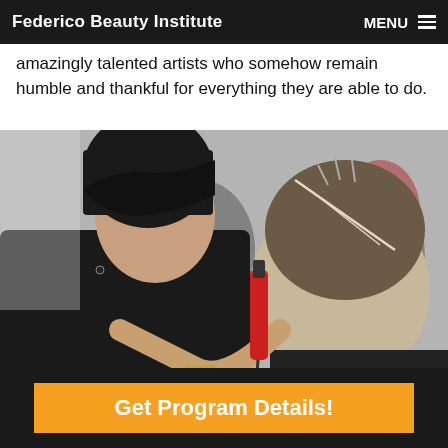Federico Beauty Institute  MENU
amazingly talented artists who somehow remain humble and thankful for everything they are able to do.
[Figure (photo): A hairstylist with dark bangs and black clothing holds a red styling tool while working on the back of a client's head, which features an elaborate updo with a geometric hair part. The setting appears to be a busy salon or hairstyling competition.]
Get Program Details!